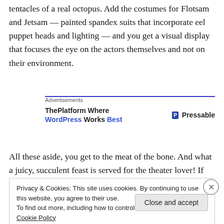tentacles of a real octopus. Add the costumes for Flotsam and Jetsam — painted spandex suits that incorporate eel puppet heads and lighting — and you get a visual display that focuses the eye on the actors themselves and not on their environment.
[Figure (other): Advertisement banner: ThePlatform Where WordPress Works Best / Pressable]
All these aside, you get to the meat of the bone. And what a juicy, succulent feast is served for the theater lover! If
Privacy & Cookies: This site uses cookies. By continuing to use this website, you agree to their use.
To find out more, including how to control cookies, see here: Cookie Policy
Close and accept